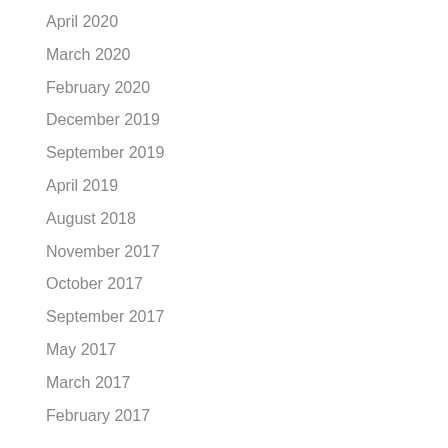April 2020
March 2020
February 2020
December 2019
September 2019
April 2019
August 2018
November 2017
October 2017
September 2017
May 2017
March 2017
February 2017